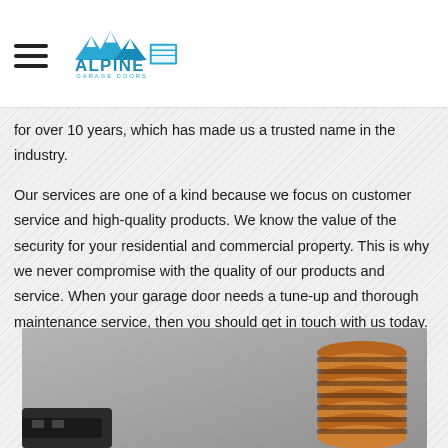Alpine Garage Doors
We have been helping people maintain their garage doors for over 10 years, which has made us a trusted name in the industry.
Our services are one of a kind because we focus on customer service and high-quality products. We know the value of the security for your residential and commercial property. This is why we never compromise with the quality of our products and service. When your garage door needs a tune-up and thorough maintenance service, then you should get in touch with us today.
[Figure (photo): Close-up photo of a garage door spring or tool component, showing a dark mechanical part on the left and a copper/bronze colored cylindrical object (likely a spring or roller) on the right, against a grey surface.]